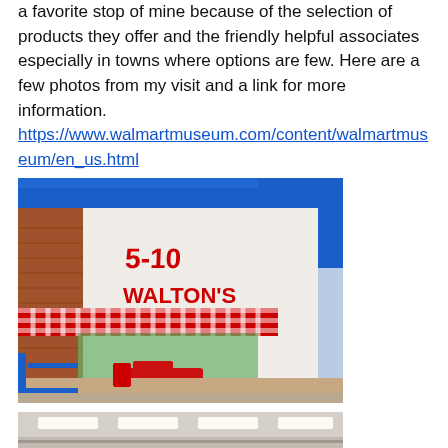a favorite stop of mine because of the selection of products they offer and the friendly helpful associates especially in towns where options are few. Here are a few photos from my visit and a link for more information. https://www.walmartmuseum.com/content/walmartmuseum/en_us.html
[Figure (photo): Exterior of Walton's 5-10 store (original Walmart museum location) with red and white striped awning, 'WALTON'S' signage in red letters, blue umbrellas in foreground, red pickup truck parked outside, brick facade building]
[Figure (photo): Interior of Walmart museum showing ceiling lights and displays, partially visible at bottom of page]